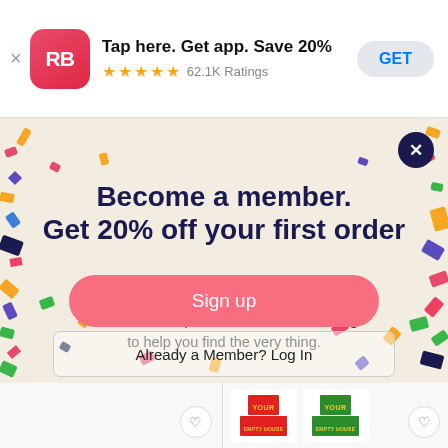[Figure (screenshot): App store banner for RB (Redbubble) app: 'Tap here. Get app. Save 20%' with 5 stars and 62.1K Ratings and GET button]
Become a member.
Get 20% off your first order
Plus other neat perks and exclusive savings to help you find the very thing.
Sign up
Already a Member? Log In
[Figure (screenshot): Bottom product thumbnails showing 'YOUR EMPTY HOUSE' sticker products in red/yellow and green/yellow colorways with heart/wishlist buttons]